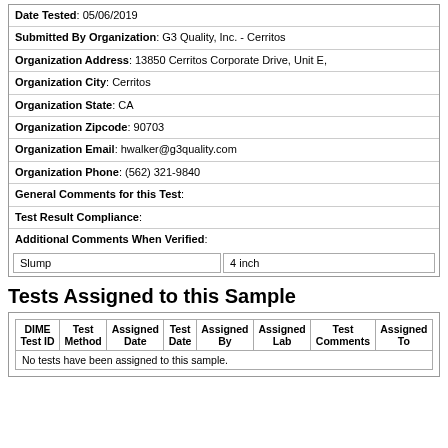| Date Tested: 05/06/2019 |
| Submitted By Organization: G3 Quality, Inc. - Cerritos |
| Organization Address: 13850 Cerritos Corporate Drive, Unit E, |
| Organization City: Cerritos |
| Organization State: CA |
| Organization Zipcode: 90703 |
| Organization Email: hwalker@g3quality.com |
| Organization Phone: (562) 321-9840 |
| General Comments for this Test: |
| Test Result Compliance: |
| Additional Comments When Verified: |
| Slump | 4 inch |
Tests Assigned to this Sample
| DIME Test ID | Test Method | Assigned Date | Test Date | Assigned By | Assigned Lab | Test Comments | Assigned To |
| --- | --- | --- | --- | --- | --- | --- | --- |
| No tests have been assigned to this sample. |